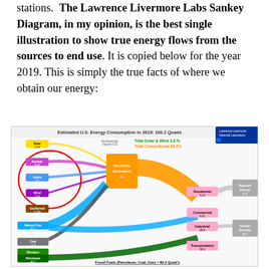stations.  The Lawrence Livermore Labs Sankey Diagram, in my opinion, is the best single illustration to show true energy flows from the sources to end use. It is copied below for the year 2019. This is simply the true facts of where we obtain our energy:
[Figure (infographic): Lawrence Livermore National Laboratory Sankey Diagram showing Estimated U.S. Energy Consumption in 2019: 100.2 Quads. Shows energy flows from sources (Solar, Nuclear, Hydro, Wind, Geothermal, Natural Gas, Coal, Biomass, Petroleum) through Electricity Generation to end uses (Residential, Commercial, Industrial, Transportation) and Rejected Energy vs Energy Services. Annotations: Total Solar & Wind 3.8%, Total Conventional 96.2%. Fossil Fuels (Petroleum, Coal, Gas) = 80.2 Quad's.]